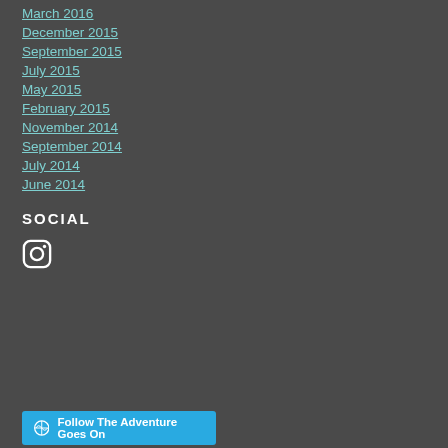March 2016
December 2015
September 2015
July 2015
May 2015
February 2015
November 2014
September 2014
July 2014
June 2014
SOCIAL
[Figure (illustration): Instagram camera icon in white]
Follow The Adventure Goes On